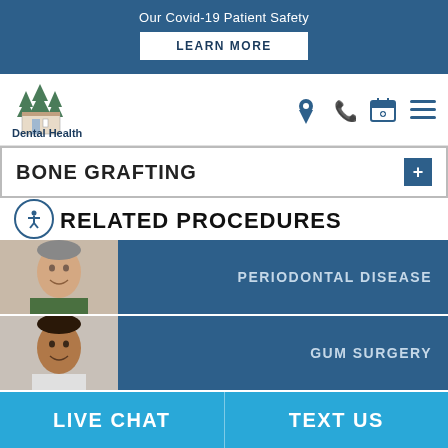Our Covid-19 Patient Safety
LEARN MORE
[Figure (logo): Dental Health clinic logo with pine trees and building illustration, text reads 'Dental Health' and 'Providing a Premium Dental Experience']
BONE GRAFTING
RELATED PROCEDURES
PERIODONTAL DISEASE
GUM SURGERY
GUM CONTOURING
LIVE CHAT  TEXT US